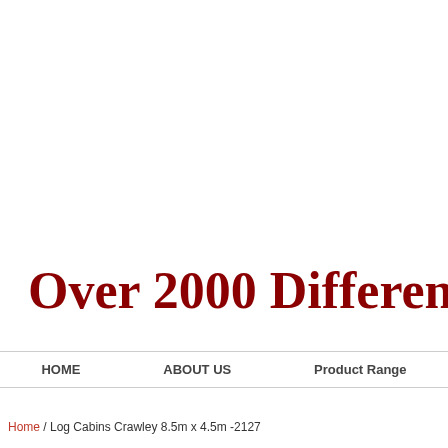Over 2000 Differen
HOME   ABOUT US   Product Range
Home / Log Cabins Crawley 8.5m x 4.5m -2127